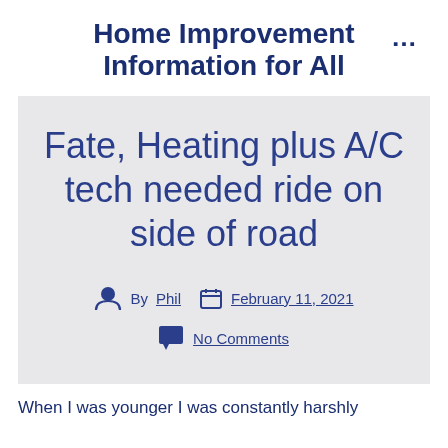Home Improvement Information for All
Fate, Heating plus A/C tech needed ride on side of road
By Phil   February 11, 2021   No Comments
When I was younger I was constantly harshly